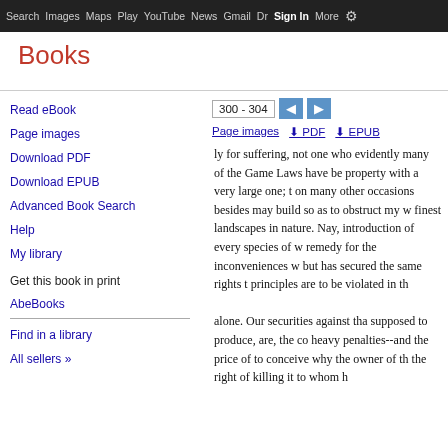Search Images Maps Play YouTube News Gmail Drive More Sign in
Books
Read eBook
Page images
Download PDF
Download EPUB
Advanced Book Search
Help
My library
Get this book in print
AbeBooks
Find in a library
All sellers »
300 - 304
Page images  PDF  EPUB
ly for suffering, not one who evidently many of the Game Laws have been property with a very large one; the on many other occasions besides may build so as to obstruct my v finest landscapes in nature. Nay, introduction of every species of w remedy for the inconveniences w but has secured the same rights t principles are to be violated in th alone. Our securities against that supposed to produce, are, the co heavy penalties--and the price of to conceive why the owner of th the right of killing it to whom h